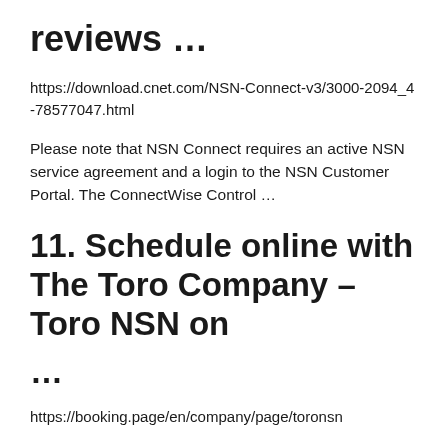reviews …
https://download.cnet.com/NSN-Connect-v3/3000-2094_4-78577047.html
Please note that NSN Connect requires an active NSN service agreement and a login to the NSN Customer Portal. The ConnectWise Control …
11. Schedule online with The Toro Company – Toro NSN on
…
https://booking.page/en/company/page/toronsn
This booking is to schedule us to remotely connect to your computer and analyze your data